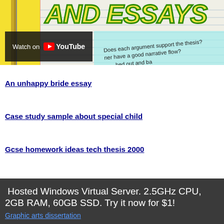[Figure (screenshot): Banner image showing 'AND ESSAYS' text in yellow with green outline on lined paper background, with YouTube 'Watch on' overlay and cyan handwriting area with text about thesis and narrative flow]
An unhappy bride essay
Case study sample about special child
Gcse homework ideas tech thesis 2000
Hosted Windows Virtual Server. 2.5GHz CPU, 2GB RAM, 60GB SSD. Try it now for $1!
Graphic arts dissertation